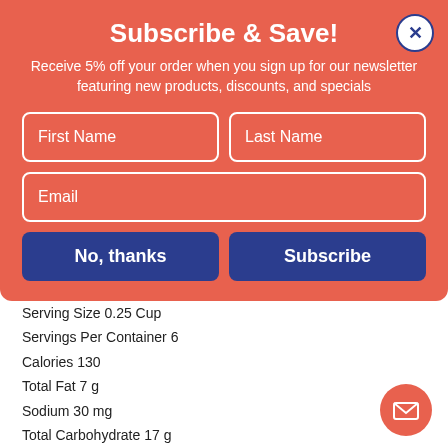Subscribe & Save!
Receive 5% off your order when you sign up for our newsletter featuring new products, discounts, and specials
First Name
Last Name
Email
No, thanks
Subscribe
exact.
Nutrition Facts:
Serving Size 0.25 Cup
Servings Per Container 6
Calories 130
Total Fat 7 g
Sodium 30 mg
Total Carbohydrate 17 g
Protein 3 g
Ingredients:
Peanut, Almond, Coconut